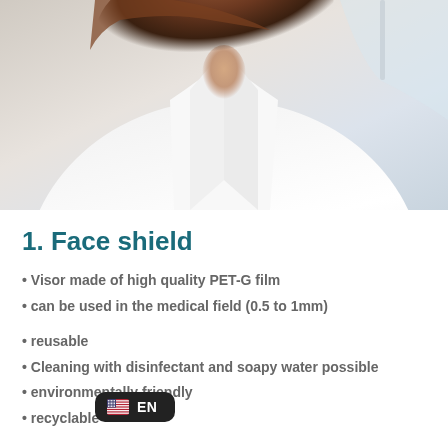[Figure (photo): Photo of a person in a white lab coat or medical attire, with brown hair, photographed from the torso up. The upper portion of the image shows a face shield or protective equipment at top right.]
1. Face shield
• Visor made of high quality PET-G film
• can be used in the medical field (0.5 to 1mm)
• reusable
• Cleaning with disinfectant and soapy water possible
• environmentally friendly
• recyclable
2. [holder system]